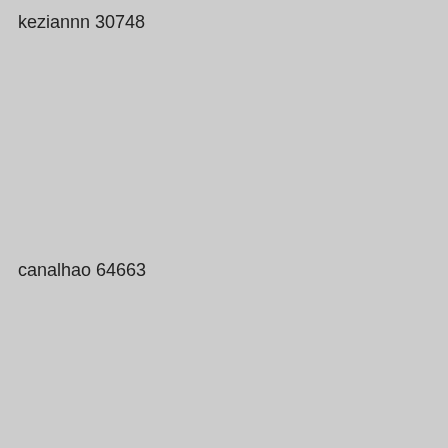keziannn 30748
omasmurygin 34553
plastozavr2013 002
canalhao 64663
cacampaneli2702 72025
daniela.alasio 9265
tadd57155 22240
christoph73634 96853
5vzmcqebcr 65737
xdtsunm 14303
josem28425533313352537 84683
talbert979 02901